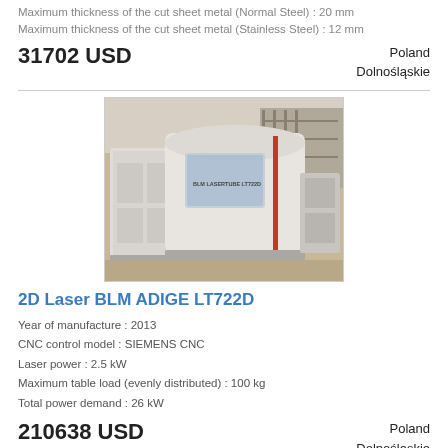Maximum thickness of the cut sheet metal (Normal Steel) : 20 mm
Maximum thickness of the cut sheet metal (Stainless Steel) : 12 mm
31702 USD
Poland
Dolnośląskie
[Figure (photo): Photo of a BLM ADIGE LT722D 2D laser cutting machine in a factory/warehouse setting. The machine is large, white/grey colored, enclosed with a cylindrical tube-cutting area visible. Text on machine reads BLM LASERTUBE LT722D.]
2D Laser BLM ADIGE LT722D
Year of manufacture : 2013
CNC control model : SIEMENS CNC
Laser power : 2.5 kW
Maximum table load (evenly distributed) : 100 kg
Total power demand : 26 kW
210638 USD
Poland
Dolnośląskie